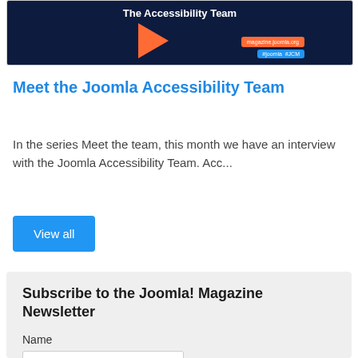[Figure (screenshot): Dark navy banner image showing 'The Accessibility Team' text with animated characters, a play button triangle, and orange/blue hashtag badges for magazine.joomla.org, #joomla, #JCM]
Meet the Joomla Accessibility Team
In the series Meet the team, this month we have an interview with the Joomla Accessibility Team. Acc...
View all
Subscribe to the Joomla! Magazine Newsletter
Name
Email